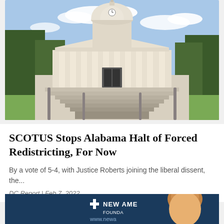[Figure (photo): Photograph of the Alabama State Capitol building with white columns, a large dome with clock, wide steps leading up to the entrance, and trees on either side under a blue sky.]
SCOTUS Stops Alabama Halt of Forced Redistricting, For Now
By a vote of 5-4, with Justice Roberts joining the liberal dissent, the...
DC Report | Feb 7, 2022
[Figure (photo): Partial photo of a person with the New America Foundation logo and website www.newamerica visible on a dark blue banner behind them.]